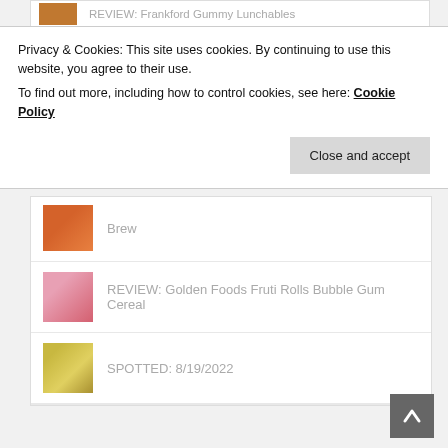REVIEW: Frankford Gummy Lunchables
Privacy & Cookies: This site uses cookies. By continuing to use this website, you agree to their use.
To find out more, including how to control cookies, see here: Cookie Policy
Close and accept
Brew
REVIEW: Golden Foods Fruti Rolls Bubble Gum Cereal
SPOTTED: 8/19/2022